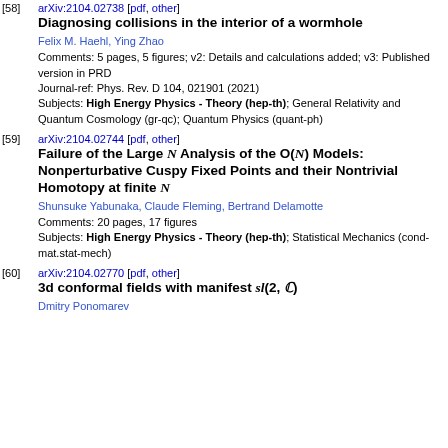[58] arXiv:2104.02738 [pdf, other] Diagnosing collisions in the interior of a wormhole. Felix M. Haehl, Ying Zhao. Comments: 5 pages, 5 figures; v2: Details and calculations added; v3: Published version in PRD. Journal-ref: Phys. Rev. D 104, 021901 (2021). Subjects: High Energy Physics - Theory (hep-th); General Relativity and Quantum Cosmology (gr-qc); Quantum Physics (quant-ph)
[59] arXiv:2104.02744 [pdf, other] Failure of the Large N Analysis of the O(N) Models: Nonperturbative Cuspy Fixed Points and their Nontrivial Homotopy at finite N. Shunsuke Yabunaka, Claude Fleming, Bertrand Delamotte. Comments: 20 pages, 17 figures. Subjects: High Energy Physics - Theory (hep-th); Statistical Mechanics (cond-mat.stat-mech)
[60] arXiv:2104.02770 [pdf, other] 3d conformal fields with manifest sl(2,C). Dmitry Ponomarev